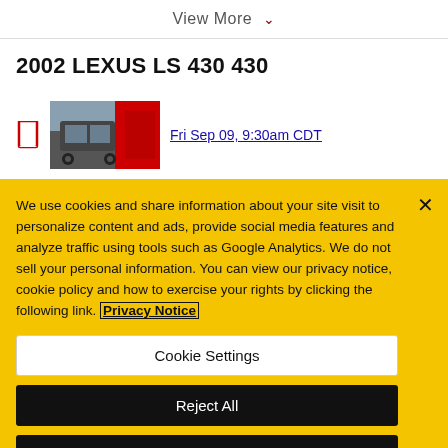View More
2002 LEXUS LS 430 430
Fri Sep 09, 9:30am CDT
We use cookies and share information about your site visit to personalize content and ads, provide social media features and analyze traffic using tools such as Google Analytics. We do not sell your personal information. You can view our privacy notice, cookie policy and how to exercise your rights by clicking the following link. Privacy Notice
Cookie Settings
Reject All
Accept Cookies